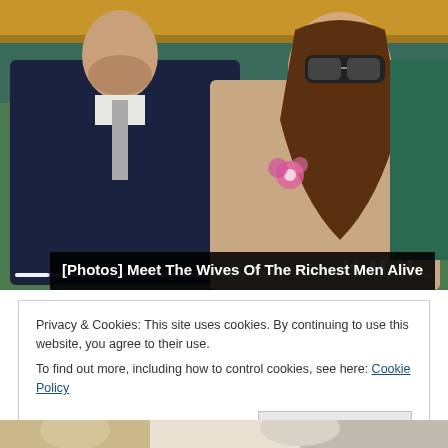[Figure (photo): A man in a dark navy suit and gray tie (left) and a woman with long brown hair wearing sunglasses and a lace top with pink flower brooch (right), seated at what appears to be a sporting event, with a media player progress bar and playback controls overlaid at the bottom.]
[Photos] Meet The Wives Of The Richest Men Alive
Privacy & Cookies: This site uses cookies. By continuing to use this website, you agree to their use.
To find out more, including how to control cookies, see here: Cookie Policy
[Figure (photo): Bottom strip showing partial view of another photograph.]